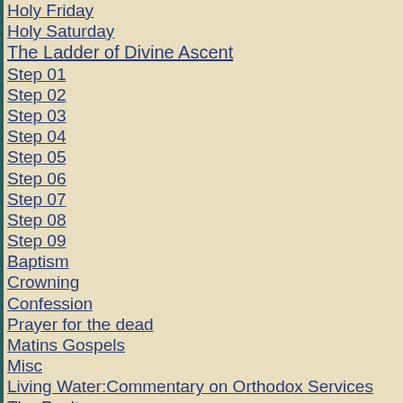Holy Friday
Holy Saturday
The Ladder of Divine Ascent
Step 01
Step 02
Step 03
Step 04
Step 05
Step 06
Step 07
Step 08
Step 09
Baptism
Crowning
Confession
Prayer for the dead
Matins Gospels
Misc
Living Water:Commentary on Orthodox Services
The Psalter